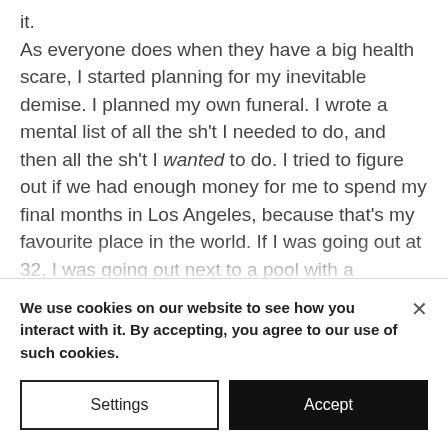it. As everyone does when they have a big health scare, I started planning for my inevitable demise. I planned my own funeral. I wrote a mental list of all the sh't I needed to do, and then all the sh't I wanted to do. I tried to figure out if we had enough money for me to spend my final months in Los Angeles, because that's my favourite place in the world. If I was going out at 32, I was going out next to a pool with a
We use cookies on our website to see how you interact with it. By accepting, you agree to our use of such cookies.
Settings
Accept